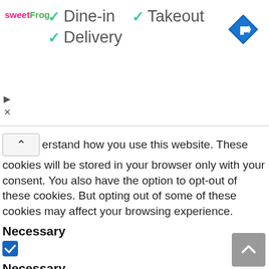[Figure (logo): sweetFrog logo text in pink and green]
✓ Dine-in  ✓ Takeout
✓ Delivery
[Figure (illustration): Blue diamond navigation/directions icon]
erstand how you use this website. These cookies will be stored in your browser only with your consent. You also have the option to opt-out of these cookies. But opting out of some of these cookies may affect your browsing experience.
Necessary
[Figure (other): Blue checked checkbox]
Necessary
Always Enabled
Necessary cookies are absolutely essential for the website to function properly. These cookies ensure basic functionalities and security features of the website, anonymously.
| Cookie | Duration | Description |
| --- | --- | --- |
| cookielawinfo- | 11 | This cookie is set by GDPR |